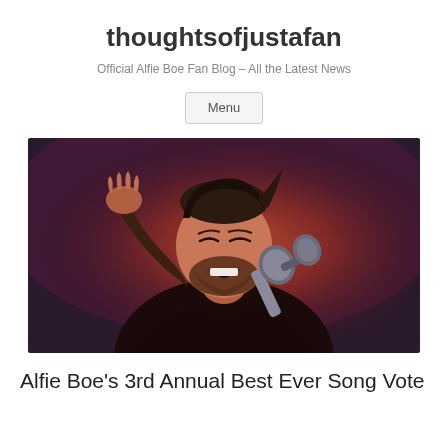thoughtsofjustafan
Official Alfie Boe Fan Blog – All the Latest News
Menu
[Figure (photo): A man singing enthusiastically into a microphone on stage, arm raised, lit by warm reddish stage lighting, with a beard and short dark hair]
Alfie Boe's 3rd Annual Best Ever Song Vote